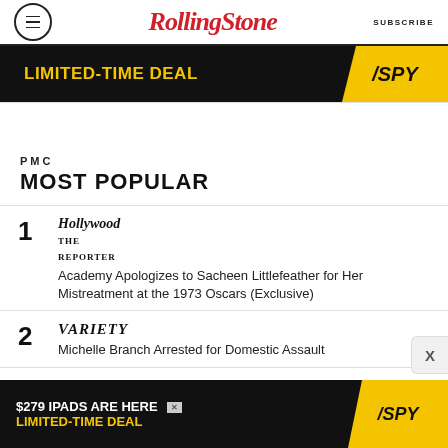RollingStone  SUBSCRIBE
[Figure (other): SPY advertisement banner: LIMITED-TIME DEAL with SPY logo on yellow background]
PMC MOST POPULAR
1 The Hollywood Reporter - Academy Apologizes to Sacheen Littlefeather for Her Mistreatment at the 1973 Oscars (Exclusive)
2 Variety - Michelle Branch Arrested for Domestic Assault
3
[Figure (other): SPY advertisement banner: $279 IPADS ARE HERE LIMITED-TIME DEAL]